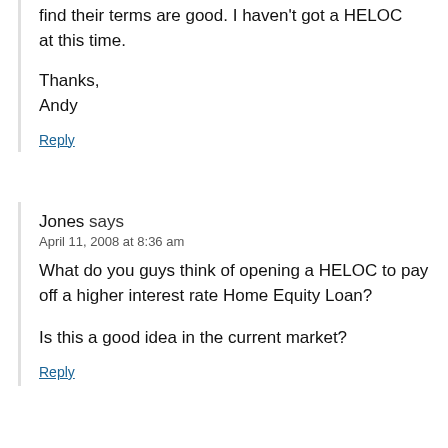find their terms are good. I haven't got a HELOC at this time.
Thanks,
Andy
Reply
Jones says
April 11, 2008 at 8:36 am
What do you guys think of opening a HELOC to pay off a higher interest rate Home Equity Loan?
Is this a good idea in the current market?
Reply